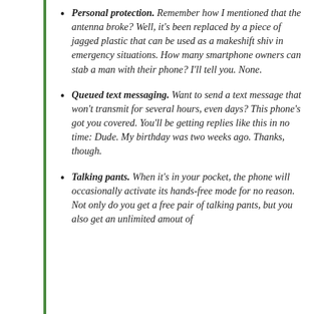Personal protection. Remember how I mentioned that the antenna broke? Well, it's been replaced by a piece of jagged plastic that can be used as a makeshift shiv in emergency situations. How many smartphone owners can stab a man with their phone? I'll tell you. None.
Queued text messaging. Want to send a text message that won't transmit for several hours, even days? This phone's got you covered. You'll be getting replies like this in no time: Dude. My birthday was two weeks ago. Thanks, though.
Talking pants. When it's in your pocket, the phone will occasionally activate its hands-free mode for no reason. Not only do you get a free pair of talking pants, but you also get an unlimited amout of